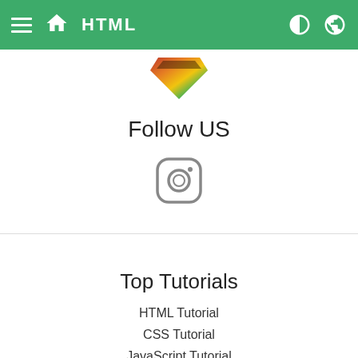HTML
[Figure (logo): Colorful W3Schools logo/icon (red, yellow, green gem shape)]
Follow US
[Figure (illustration): Instagram icon (rounded square with camera outline)]
Top Tutorials
HTML Tutorial
CSS Tutorial
JavaScript Tutorial
How To Tutorial
SQL Tutorial
Python Tutorial
W3.CSS Tutorial
Bootstrap Tutorial